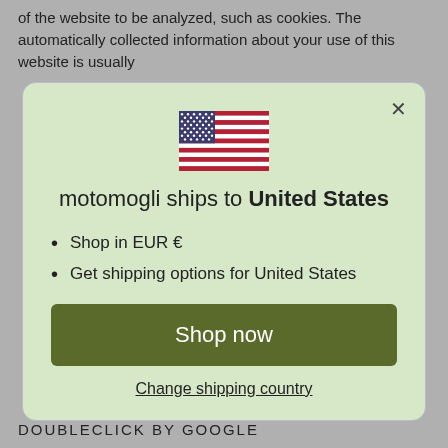of the website to be analyzed, such as cookies. The automatically collected information about your use of this website is usually
[Figure (illustration): US flag emoji/icon displayed centered in a modal popup dialog]
motomogli ships to United States
Shop in EUR €
Get shipping options for United States
Shop now
Change shipping country
DOUBLECLICK BY GOOGLE